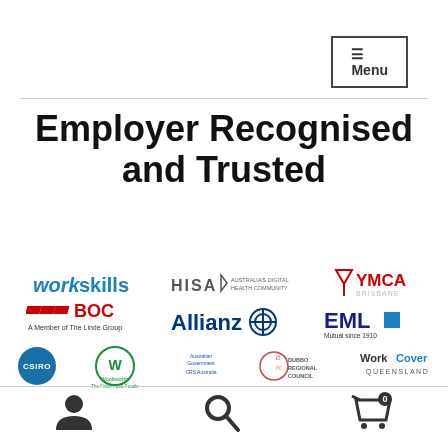≡ Menu
Employer Recognised and Trusted
[Figure (logo): Grid of employer logos: workskills, HISA, YMCA Brisbane, BOC A Member of The Linde Group, Allianz, EML Mutual since 1910, CSIRO, Woolworths The Fresh Food People, Australian Government CRS Australia, Dubbo Regional Council, WorkCover Queensland]
User icon, Search icon, Shopping cart icon with 0